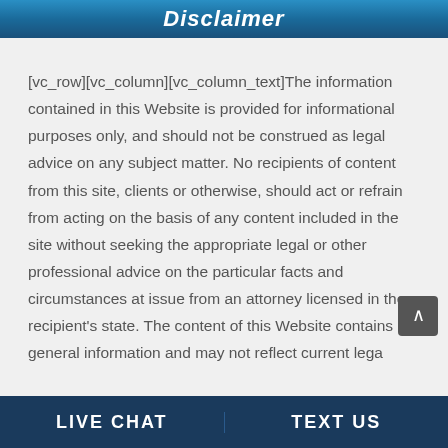Disclaimer
[vc_row][vc_column][vc_column_text]The information contained in this Website is provided for informational purposes only, and should not be construed as legal advice on any subject matter. No recipients of content from this site, clients or otherwise, should act or refrain from acting on the basis of any content included in the site without seeking the appropriate legal or other professional advice on the particular facts and circumstances at issue from an attorney licensed in the recipient's state. The content of this Website contains general information and may not reflect current lega
LIVE CHAT   TEXT US